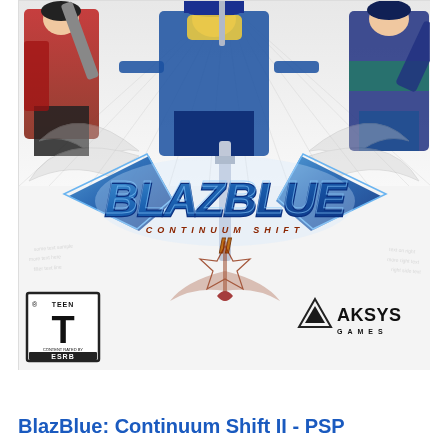[Figure (illustration): BlazBlue: Continuum Shift II PSP game cover art featuring anime-style characters in fighting poses on a white background with decorative sword/wing motifs, the stylized BlazBlue logo in blue metallic lettering, 'Continuum Shift II' subtitle in brown/red decorative text, ESRB Teen rating box in lower left, and Aksys Games logo in lower right.]
BlazBlue: Continuum Shift II - PSP